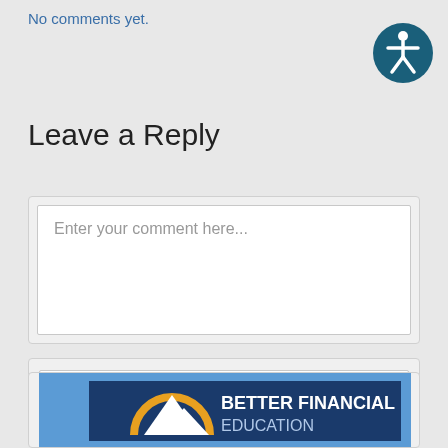No comments yet.
[Figure (illustration): Accessibility icon — circular dark teal button with white stick figure person (accessibility/wheelchair symbol style)]
Leave a Reply
Enter your comment here...
Search...
[Figure (logo): Better Financial Education logo — dark navy blue background with light blue border, golden/orange semicircle arc above white mountain peaks silhouette, text reads BETTER FINANCIAL EDUCATION in white bold font]